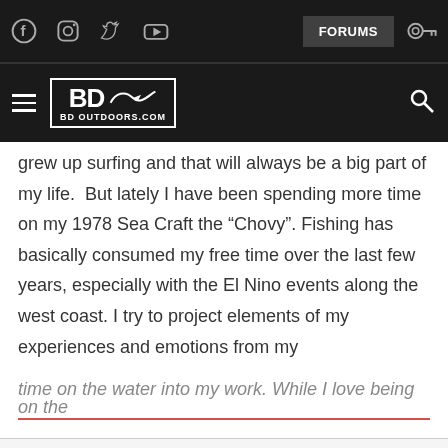[Figure (screenshot): Website header: BD Outdoors navigation bar with social icons (Facebook, Instagram, Twitter, YouTube), FORUMS button, BD Outdoors logo, hamburger menu, and search icon on dark background.]
grew up surfing and that will always be a big part of my life.  But lately I have been spending more time on my 1978 Sea Craft the “Chovy”. Fishing has basically consumed my free time over the last few years, especially with the El Nino events along the west coast. I try to project elements of my experiences and emotions from my time on the water into my work. While I love being on the
This site uses cookies to help personalise content, tailor your experience and to keep you logged in if you register.
By continuing to use this site, you are consenting to our use of cookies.